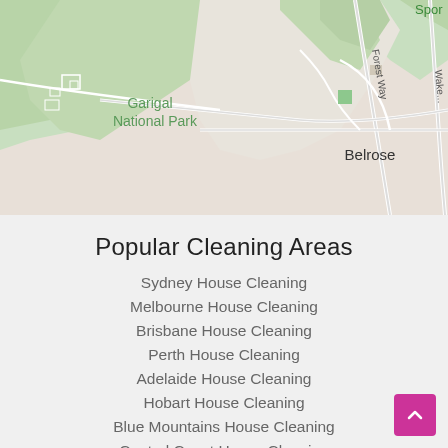[Figure (map): Map showing Garigal National Park and Belrose area with green terrain and road labels including Forest Way and Wakehurst Parkway. 'Spor' text partially visible top right.]
Popular Cleaning Areas
Sydney House Cleaning
Melbourne House Cleaning
Brisbane House Cleaning
Perth House Cleaning
Adelaide House Cleaning
Hobart House Cleaning
Blue Mountains House Cleaning
Central Coast House Cleaning
Newcastle House Cleaning